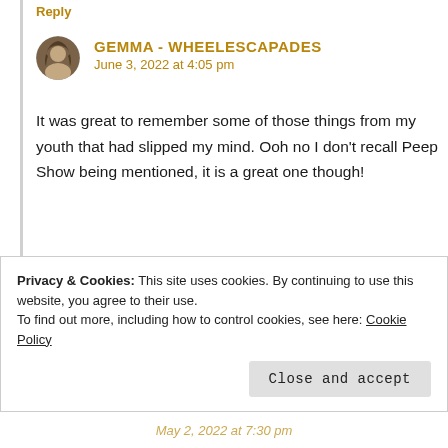Reply
[Figure (photo): Circular avatar photo of Gemma, a woman with brown hair]
GEMMA - WHEELESCAPADES
June 3, 2022 at 4:05 pm
It was great to remember some of those things from my youth that had slipped my mind. Ooh no I don't recall Peep Show being mentioned, it is a great one though!
★ Liked by 1 person
Reply →
Privacy & Cookies: This site uses cookies. By continuing to use this website, you agree to their use.
To find out more, including how to control cookies, see here: Cookie Policy
Close and accept
May 2, 2022 at 7:30 pm